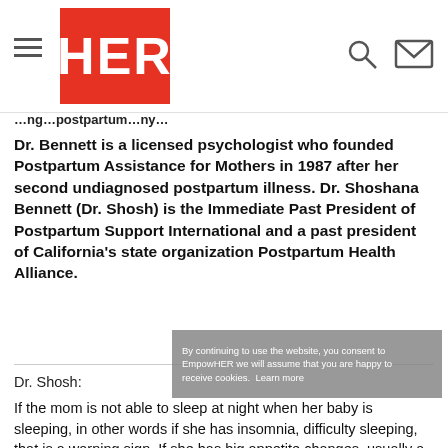HER
Dr. Bennett is a licensed psychologist who founded Postpartum Assistance for Mothers in 1987 after her second undiagnosed postpartum illness. Dr. Shoshana Bennett (Dr. Shosh) is the Immediate Past President of Postpartum Support International and a past president of California's state organization Postpartum Health Alliance.
Dr. Shosh:
If the mom is not able to sleep at night when her baby is sleeping, in other words if she has insomnia, difficulty sleeping, that is a warning sign. If she has big appetite changes, usually a loss of appetite, but it could be the opposite. It could be a huge increase as in my case, you know, I lost all the baby weight in the hospital, but just a couple of months postpartum I was 40 pounds overweight.